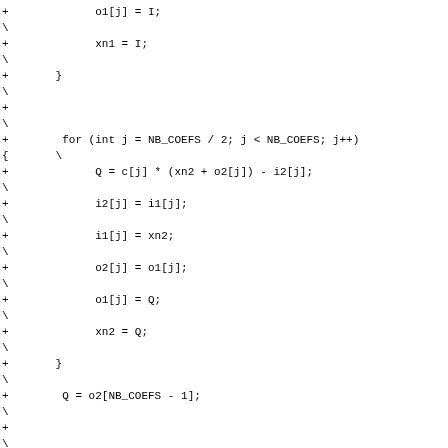Diff view of source code showing changes to a signal processing filter loop. Lines marked with + are additions, lines with \ are continuation markers. Code includes array operations on filter coefficients (NB_COEFS), variables I, Q, xn1, xn2, and a final demodulation line using cos_theta and sin_theta.